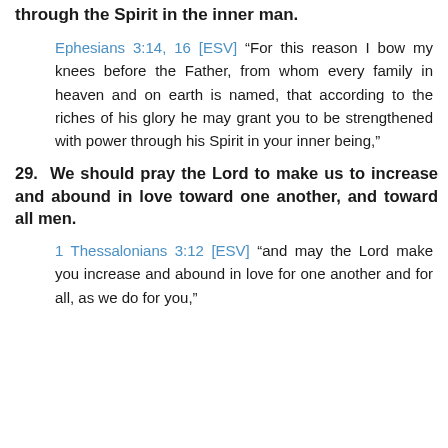through the Spirit in the inner man.
Ephesians 3:14, 16 [ESV] “For this reason I bow my knees before the Father, from whom every family in heaven and on earth is named, that according to the riches of his glory he may grant you to be strengthened with power through his Spirit in your inner being,”
29. We should pray the Lord to make us to increase and abound in love toward one another, and toward all men.
1 Thessalonians 3:12 [ESV] “and may the Lord make you increase and abound in love for one another and for all, as we do for you,”